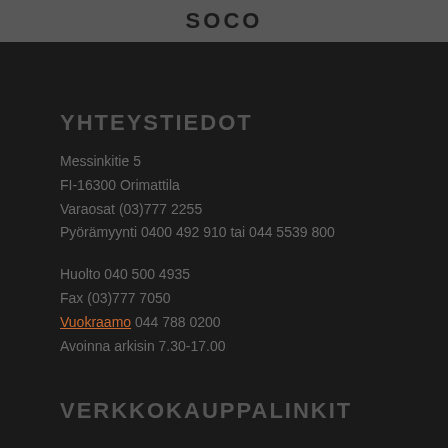SOCO
YHTEYSTIEDOT
Messinkitie 5
FI-16300 Orimattila
Varaosat (03)777 2255
Pyörämyynti 0400 492 910 tai 044 5539 800
Huolto 040 500 4935
Fax (03)777 7050
Vuokraamo 044 788 0200
Avoinna arkisin 7.30-17.00
VERKKOKAUPPALINKIT
» Tietosuojaseloste
» Toimitusehdot